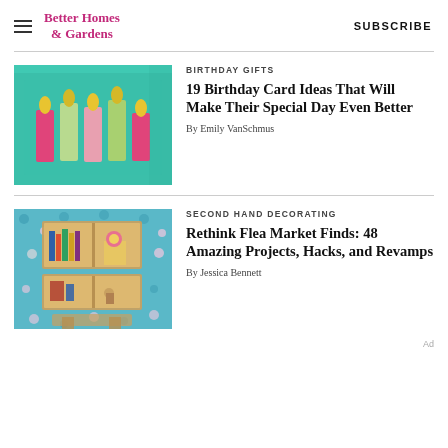Better Homes & Gardens | SUBSCRIBE
[Figure (photo): Teal birthday card with colorful paper candles (pink, green) and gold flame cutouts]
BIRTHDAY GIFTS
19 Birthday Card Ideas That Will Make Their Special Day Even Better
By Emily VanSchmus
[Figure (photo): Floral blue wallpaper with wooden crate shelves mounted on wall displaying books and flowers]
SECOND HAND DECORATING
Rethink Flea Market Finds: 48 Amazing Projects, Hacks, and Revamps
By Jessica Bennett
Ad